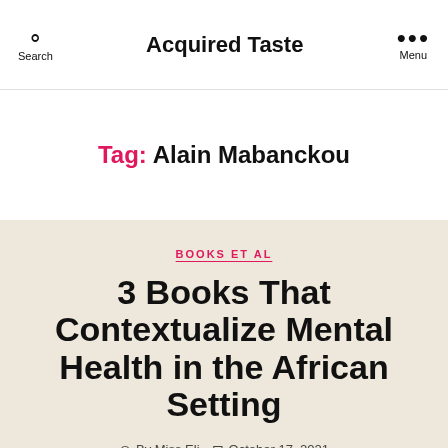Search | Acquired Taste | Menu
Tag: Alain Mabanckou
BOOKS ET AL
3 Books That Contextualize Mental Health in the African Setting
By Miss Eli   October 17, 2021